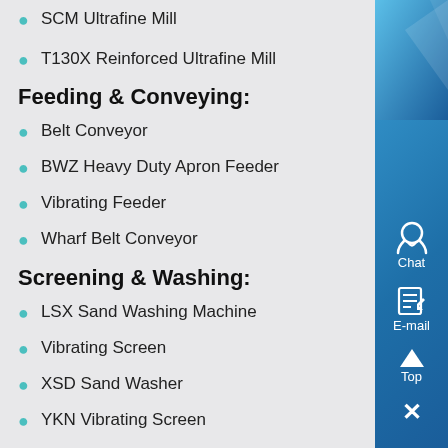SCM Ultrafine Mill
T130X Reinforced Ultrafine Mill
Feeding & Conveying:
Belt Conveyor
BWZ Heavy Duty Apron Feeder
Vibrating Feeder
Wharf Belt Conveyor
Screening & Washing:
LSX Sand Washing Machine
Vibrating Screen
XSD Sand Washer
YKN Vibrating Screen